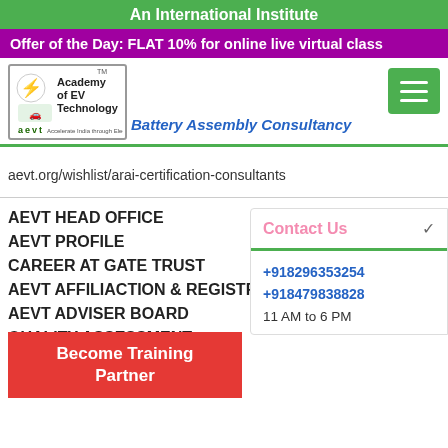An International Institute
Offer of the Day: FLAT 10% for online live virtual class
[Figure (logo): Academy of EV Technology logo with EV car icon and brand name aevt]
Battery Assembly Consultancy
aevt.org/wishlist/arai-certification-consultants
AEVT HEAD OFFICE
AEVT PROFILE
CAREER AT GATE TRUST
AEVT AFFILIACTION & REGISTRATION
AEVT ADVISER BOARD
QUALITY ASSESSMENT
AEVT ALUMNI
Become Training Partner
Contact Us
+918296353254
+918479838828
11 AM to 6 PM